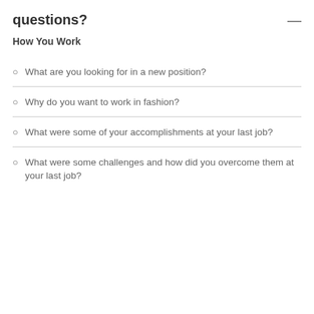questions?
How You Work
What are you looking for in a new position?
Why do you want to work in fashion?
What were some of your accomplishments at your last job?
What were some challenges and how did you overcome them at your last job?